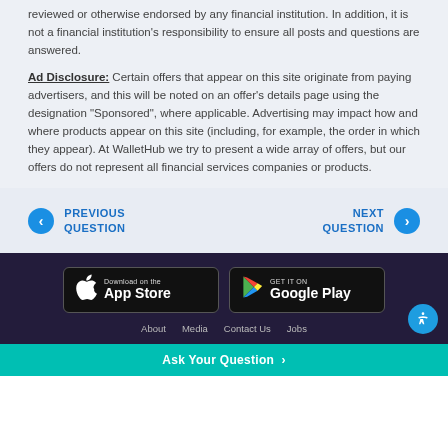reviewed or otherwise endorsed by any financial institution. In addition, it is not a financial institution's responsibility to ensure all posts and questions are answered.
Ad Disclosure: Certain offers that appear on this site originate from paying advertisers, and this will be noted on an offer's details page using the designation "Sponsored", where applicable. Advertising may impact how and where products appear on this site (including, for example, the order in which they appear). At WalletHub we try to present a wide array of offers, but our offers do not represent all financial services companies or products.
PREVIOUS QUESTION
NEXT QUESTION
[Figure (other): Download on the App Store button]
[Figure (other): Get it on Google Play button]
About   Media   Contact Us   Jobs
Ask Your Question >